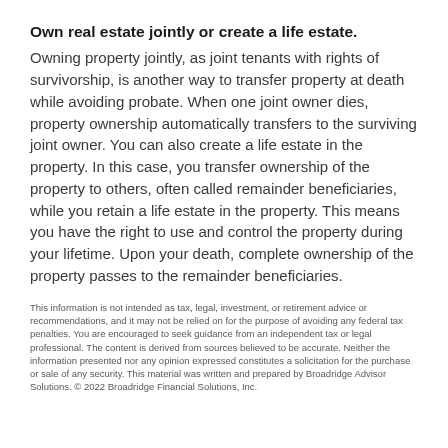Own real estate jointly or create a life estate.
Owning property jointly, as joint tenants with rights of survivorship, is another way to transfer property at death while avoiding probate. When one joint owner dies, property ownership automatically transfers to the surviving joint owner. You can also create a life estate in the property. In this case, you transfer ownership of the property to others, often called remainder beneficiaries, while you retain a life estate in the property. This means you have the right to use and control the property during your lifetime. Upon your death, complete ownership of the property passes to the remainder beneficiaries.
This information is not intended as tax, legal, investment, or retirement advice or recommendations, and it may not be relied on for the purpose of avoiding any federal tax penalties. You are encouraged to seek guidance from an independent tax or legal professional. The content is derived from sources believed to be accurate. Neither the information presented nor any opinion expressed constitutes a solicitation for the purchase or sale of any security. This material was written and prepared by Broadridge Advisor Solutions. © 2022 Broadridge Financial Solutions, Inc.